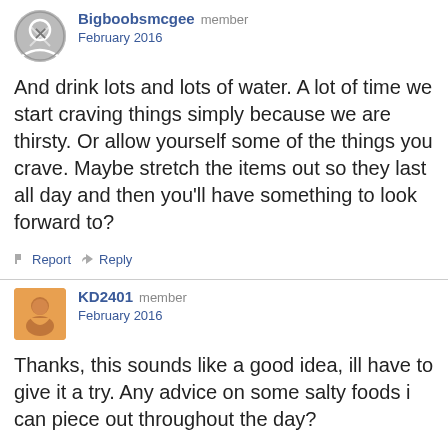[Figure (illustration): Gray circular avatar with person silhouette icon for user Bigboobsmcgee]
Bigboobsmcgee member
February 2016
And drink lots and lots of water. A lot of time we start craving things simply because we are thirsty. Or allow yourself some of the things you crave. Maybe stretch the items out so they last all day and then you'll have something to look forward to?
Report   Reply
[Figure (illustration): Orange/yellow square avatar with illustrated person for user KD2401]
KD2401 member
February 2016
Thanks, this sounds like a good idea, ill have to give it a try. Any advice on some salty foods i can piece out throughout the day?
Report   Reply
[Figure (illustration): Gray circular avatar with person silhouette icon for user Bigboobsmcgee]
Bigboobsmcgee member
February 2016